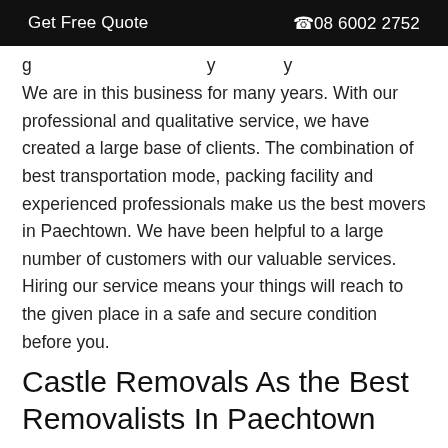Get Free Quote   ☎08 6002 2752
We are in this business for many years. With our professional and qualitative service, we have created a large base of clients. The combination of best transportation mode, packing facility and experienced professionals make us the best movers in Paechtown. We have been helpful to a large number of customers with our valuable services. Hiring our service means your things will reach to the given place in a safe and secure condition before you.
Castle Removals As the Best Removalists In Paechtown
You can not remain intact at the same place. With a change of place you need to move your things together, but it's not easy for you. This is where